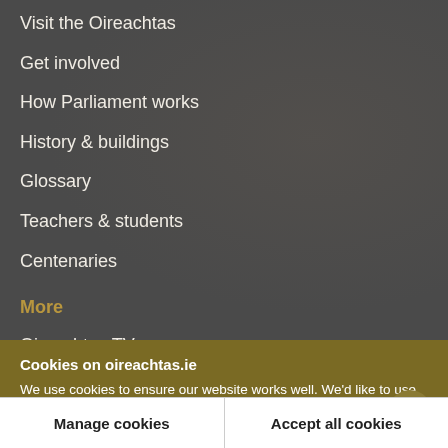Visit the Oireachtas
Get involved
How Parliament works
History & buildings
Glossary
Teachers & students
Centenaries
More
Oireachtas TV
Cookies on oireachtas.ie
We use cookies to ensure our website works well. We'd like to use analytics and functionality cookies to help us improve it but we require your consent to do so. If you don't consent, only necessary cookies will be used. Read more about our cookies
Manage cookies
Accept all cookies